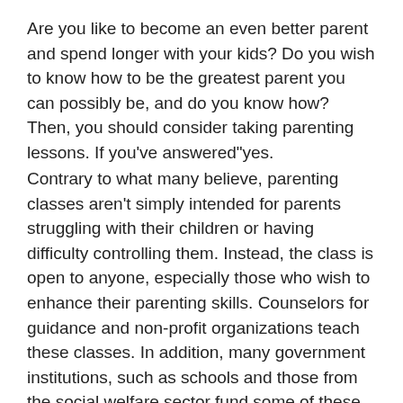Are you like to become an even better parent and spend longer with your kids? Do you wish to know how to be the greatest parent you can possibly be, and do you know how? Then, you should consider taking parenting lessons. If you've answered"yes.
Contrary to what many believe, parenting classes aren't simply intended for parents struggling with their children or having difficulty controlling them. Instead, the class is open to anyone, especially those who wish to enhance their parenting skills. Counselors for guidance and non-profit organizations teach these classes. In addition, many government institutions, such as schools and those from the social welfare sector fund some of these events.
Benefits of Taking Parenting Classes